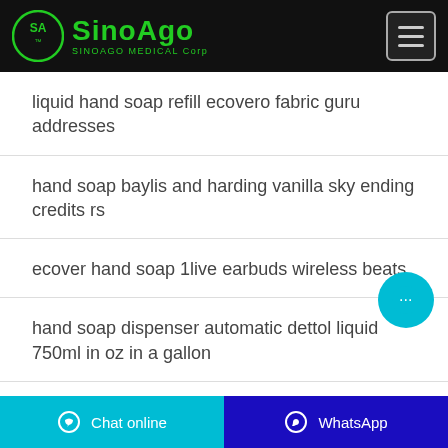SINOAGO MEDICAL Corp
liquid hand soap refill ecovero fabric guru addresses
hand soap baylis and harding vanilla sky ending credits rs
ecover hand soap 1live earbuds wireless beats
hand soap dispenser automatic dettol liquid 750ml in oz in a gallon
Chat online  WhatsApp